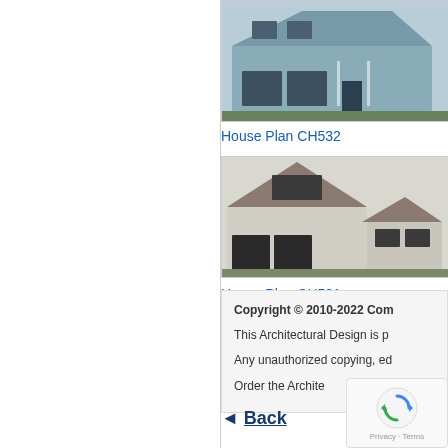[Figure (photo): Exterior photo of House Plan CH532 – a blue-grey two-story house with attached garage and front porch]
House Plan CH532
[Figure (photo): Exterior photo of House Plan CH581 – a white two-story house with large garage and side wing]
House Plan CH581
Copyright © 2010-2022 Com... This Architectural Design is p... Any unauthorized copying, ed... Order the Archite...
◄ Back